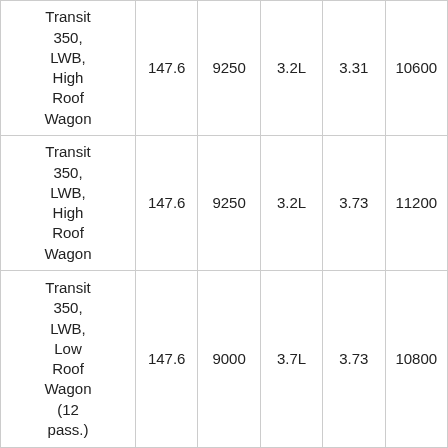| Transit 350, LWB, High Roof Wagon | 147.6 | 9250 | 3.2L | 3.31 | 10600 |
| Transit 350, LWB, High Roof Wagon | 147.6 | 9250 | 3.2L | 3.73 | 11200 |
| Transit 350, LWB, Low Roof Wagon (12 pass.) | 147.6 | 9000 | 3.7L | 3.73 | 10800 |